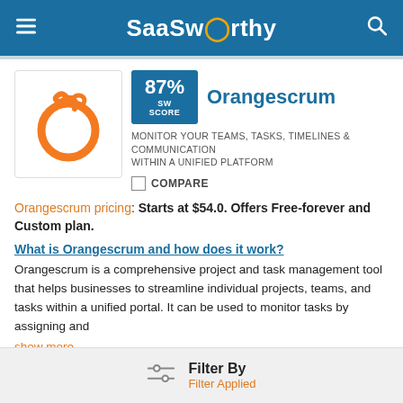SaaSworthy
[Figure (logo): Orangescrum orange circular logo on white background]
87% SW SCORE
Orangescrum
MONITOR YOUR TEAMS, TASKS, TIMELINES & COMMUNICATION WITHIN A UNIFIED PLATFORM
COMPARE
Orangescrum pricing: Starts at $54.0. Offers Free-forever and Custom plan.
What is Orangescrum and how does it work?
Orangescrum is a comprehensive project and task management tool that helps businesses to streamline individual projects, teams, and tasks within a unified portal. It can be used to monitor tasks by assigning and show more
Visit Website
Basecamp vs Orangescrum | Orangescrum Alternatives
Filter By
Filter Applied